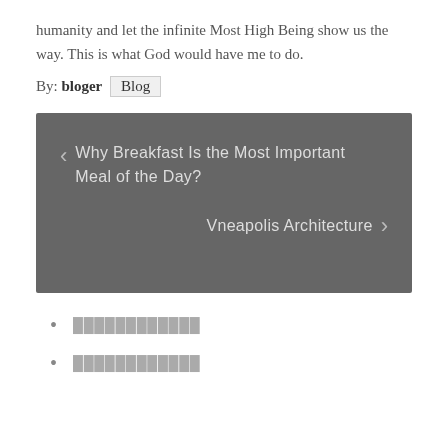humanity and let the infinite Most High Being show us the way. This is what God would have me to do.
By: bloger  Blog
[Figure (other): Navigation box with dark grey background showing two navigation links: left arrow with 'Why Breakfast Is the Most Important Meal of the Day?' and right arrow with 'Vneapolis Architecture']
████████████
████████████